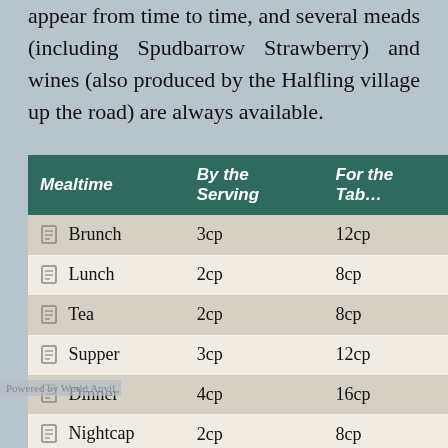appear from time to time, and several meads (including Spudbarrow Strawberry) and wines (also produced by the Halfling village up the road) are always available.
| Mealtime | By the Serving | For the Table |
| --- | --- | --- |
| Brunch | 3cp | 12cp |
| Lunch | 2cp | 8cp |
| Tea | 2cp | 8cp |
| Supper | 3cp | 12cp |
| Dinner | 4cp | 16cp |
| Nightcap | 2cp | 8cp |
| Snack | 2cp | 8cp |